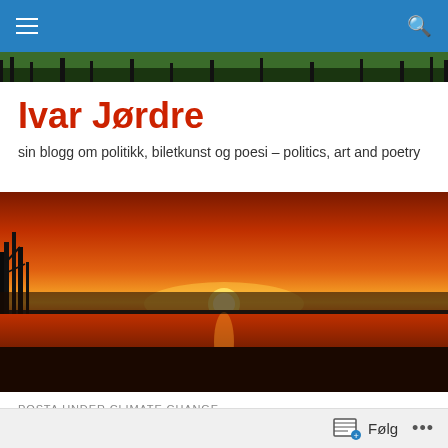Navigation bar with hamburger menu and search icon
[Figure (photo): Narrow landscape/treeline strip below nav bar]
Ivar Jørdre
sin blogg om politikk, biletkunst og poesi – politics, art and poetry
[Figure (photo): Dramatic sunset over a flat landscape with orange and red sky, silhouetted trees on the left, and a bright glowing sun on the horizon with its reflection on water below]
POSTA UNDER CLIMATE CHANGE
The fatal survival-kit of man in jeopardy
Følg • • •